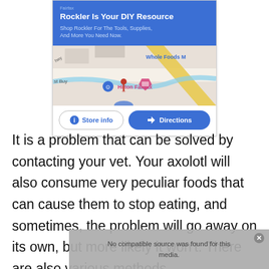[Figure (screenshot): Google Maps search result screenshot showing a Rockler DIY Resource ad with blue background, a map snippet showing Hilton Fairfax and Whole Foods M, and two buttons: Store info and Directions]
It is a problem that can be solved by contacting your vet. Your axolotl will also consume very peculiar foods that can cause them to stop eating, and sometimes, the problem will go away on its own, but more likely it won't. There are also various methods
[Figure (screenshot): Video player overlay showing 'No compatible source was found for this media.' message on a grey background with a close button]